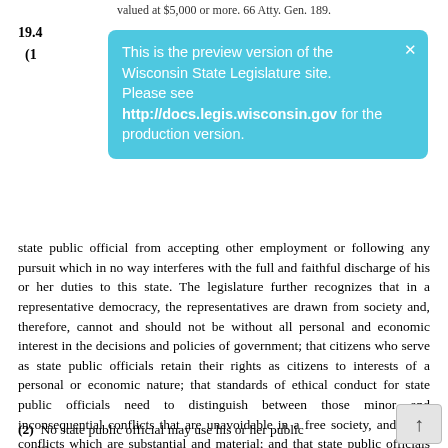valued at $5,000 or more. 66 Atty. Gen. 189.
19.4
(1
[Figure (infographic): Blue banner overlay: 'This is the preview version of the Wisconsin State Legislature site. Please see http://docs.legis.wisconsin.gov for the production version.' with a close X button.]
state public official from accepting other employment or following any pursuit which in no way interferes with the full and faithful discharge of his or her duties to this state. The legislature further recognizes that in a representative democracy, the representatives are drawn from society and, therefore, cannot and should not be without all personal and economic interest in the decisions and policies of government; that citizens who serve as state public officials retain their rights as citizens to interests of a personal or economic nature; that standards of ethical conduct for state public officials need to distinguish between those minor and inconsequential conflicts that are unavoidable in a free society, and those conflicts which are substantial and material; and that state public officials may need to engage in employment, professional or business activities, other than official duties, in order to support themselves or their families and to maintain a continuity of professional or business activity, or may need to maintain investments, which activities or investments do not conflict with the specific provisions of this subchapter.
(2) No state public official may use his or her public position or